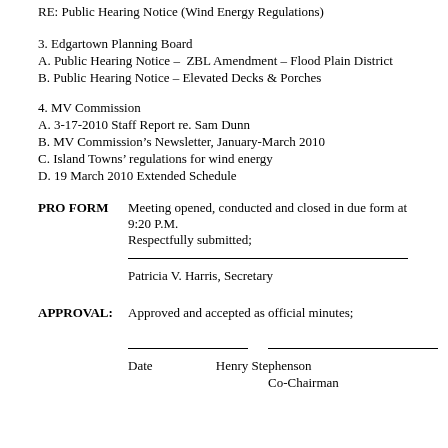RE: Public Hearing Notice (Wind Energy Regulations)
3. Edgartown Planning Board
A. Public Hearing Notice – ZBL Amendment – Flood Plain District
B. Public Hearing Notice – Elevated Decks & Porches
4. MV Commission
A. 3-17-2010 Staff Report re. Sam Dunn
B. MV Commission's Newsletter, January-March 2010
C. Island Towns' regulations for wind energy
D. 19 March 2010 Extended Schedule
PRO FORM   Meeting opened, conducted and closed in due form at 9:20 P.M. Respectfully submitted;
Patricia V. Harris, Secretary
APPROVAL:   Approved and accepted as official minutes;
Date   Henry Stephenson Co-Chairman